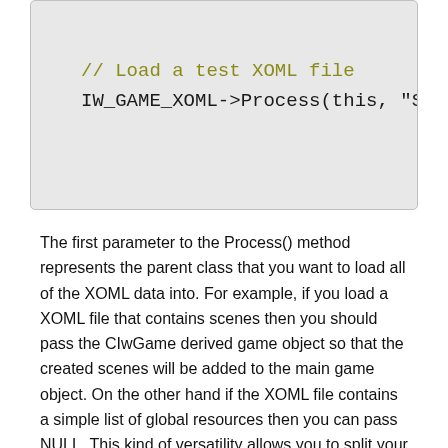[Figure (screenshot): Code block showing C++ code: a comment '// Load a test XOML file' followed by 'IW_GAME_XOML->Process(this, "Sc...' (truncated)]
The first parameter to the Process() method represents the parent class that you want to load all of the XOML data into. For example, if you load a XOML file that contains scenes then you should pass the CIwGame derived game object so that the created scenes will be added to the main game object. On the other hand if the XOML file contains a simple list of global resources then you can pass NULL. This kind of versatility allows you to split your game definitions across multiple files.
Its worth noting at this point that you need to ensure that IwGame::Init() has been called before using the XOML system as...